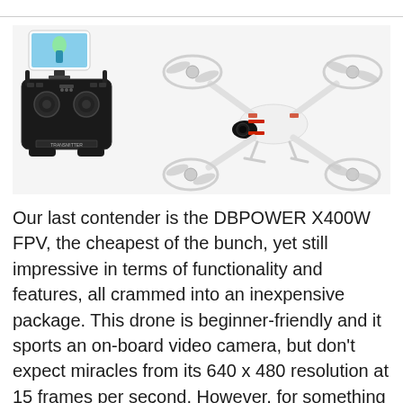[Figure (photo): Product photo showing a black RC transmitter/controller with a smartphone mounted on top displaying a snowboarder, alongside a white quadcopter drone with red accents and propeller guards.]
Our last contender is the DBPOWER X400W FPV, the cheapest of the bunch, yet still impressive in terms of functionality and features, all crammed into an inexpensive package. This drone is beginner-friendly and it sports an on-board video camera, but don't expect miracles from its 640 x 480 resolution at 15 frames per second. However, for something like $50, you should be grateful you have an eye in the sky, right?